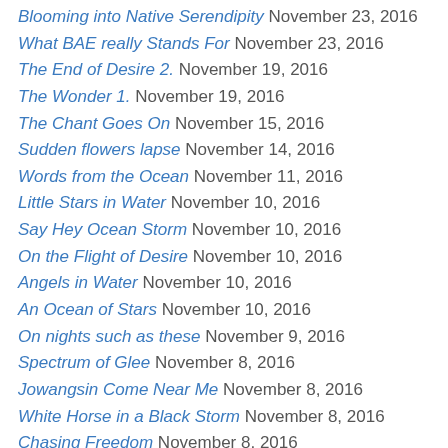Blooming into Native Serendipity November 23, 2016
What BAE really Stands For November 23, 2016
The End of Desire 2. November 19, 2016
The Wonder 1. November 19, 2016
The Chant Goes On November 15, 2016
Sudden flowers lapse November 14, 2016
Words from the Ocean November 11, 2016
Little Stars in Water November 10, 2016
Say Hey Ocean Storm November 10, 2016
On the Flight of Desire November 10, 2016
Angels in Water November 10, 2016
An Ocean of Stars November 10, 2016
On nights such as these November 9, 2016
Spectrum of Glee November 8, 2016
Jowangsin Come Near Me November 8, 2016
White Horse in a Black Storm November 8, 2016
Chasing Freedom November 8, 2016
The Ghost Dancer November 8, 2016
Avantgardists November 7, 2016
Songs of yōryu November 7, 2016